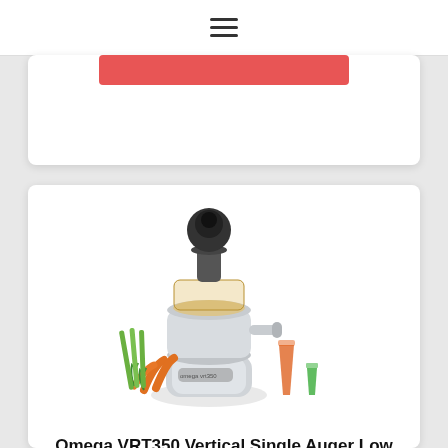≡ (hamburger menu icon)
[Figure (photo): Omega VRT350 juicer machine with carrots, celery, orange juice glass and green shot glass beside it]
Omega VRT350 Vertical Single Auger Low Speed Juicer